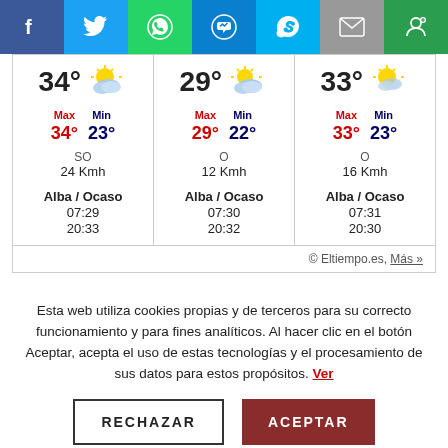[Figure (screenshot): Social sharing bar with icons: Facebook (blue), Twitter (light blue), WhatsApp (green), Messenger (blue), Skype (sky blue), Email (grey), another (green)]
| 34° | ☁ | 29° | ☁ | 33° | ☀/☁ |
| Max 34° Min 23° |  | Max 29° Min 22° |  | Max 33° Min 23° |  |
| SO 24 Kmh |  | O 12 Kmh |  | O 16 Kmh |  |
| Alba / Ocaso
07:29
20:33 |  | Alba / Ocaso
07:30
20:32 |  | Alba / Ocaso
07:31
20:30 |  |
© Eltiempo.es, Más »
Esta web utiliza cookies propias y de terceros para su correcto funcionamiento y para fines analíticos. Al hacer clic en el botón Aceptar, acepta el uso de estas tecnologías y el procesamiento de sus datos para estos propósitos. Ver
RECHAZAR   ACEPTAR